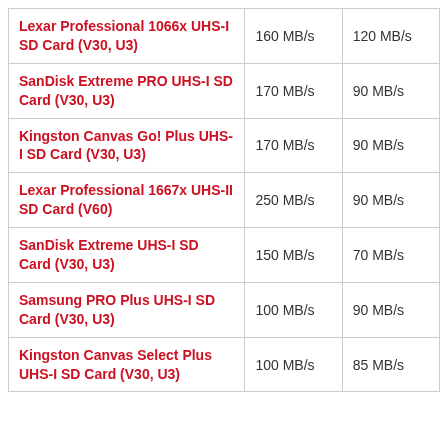| Lexar Professional 1066x UHS-I SD Card (V30, U3) | 160 MB/s | 120 MB/s |
| SanDisk Extreme PRO UHS-I SD Card (V30, U3) | 170 MB/s | 90 MB/s |
| Kingston Canvas Go! Plus UHS-I SD Card (V30, U3) | 170 MB/s | 90 MB/s |
| Lexar Professional 1667x UHS-II SD Card (V60) | 250 MB/s | 90 MB/s |
| SanDisk Extreme UHS-I SD Card (V30, U3) | 150 MB/s | 70 MB/s |
| Samsung PRO Plus UHS-I SD Card (V30, U3) | 100 MB/s | 90 MB/s |
| Kingston Canvas Select Plus UHS-I SD Card (V30, U3) | 100 MB/s | 85 MB/s |